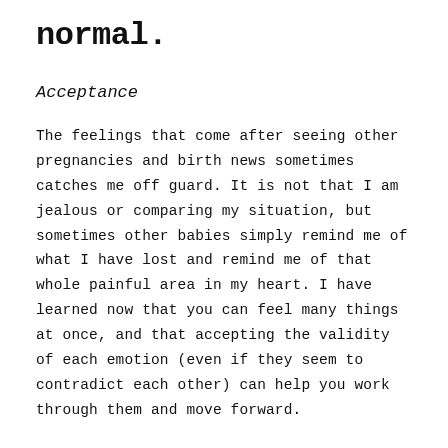normal.
Acceptance
The feelings that come after seeing other pregnancies and birth news sometimes catches me off guard.  It is not that I am jealous or comparing my situation, but sometimes other babies simply remind me of what I have lost and remind me of that whole painful area in my heart.  I have learned now that you can feel many things at once, and that accepting the validity of each emotion (even if they seem to contradict each other) can help you work through them and move forward.